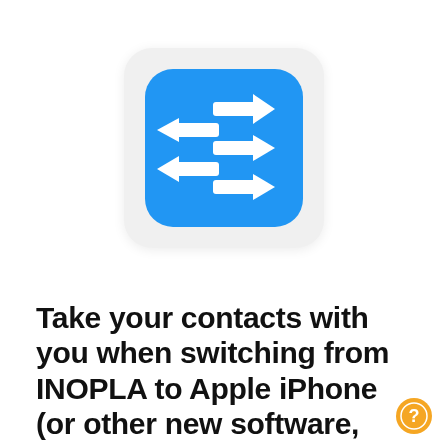[Figure (logo): Blue rounded square app icon with four double-sided horizontal arrows pointing left and right in white, arranged in two rows, on a light gray rounded card background]
Take your contacts with you when switching from INOPLA to Apple iPhone (or other new software, operating system, device,...)